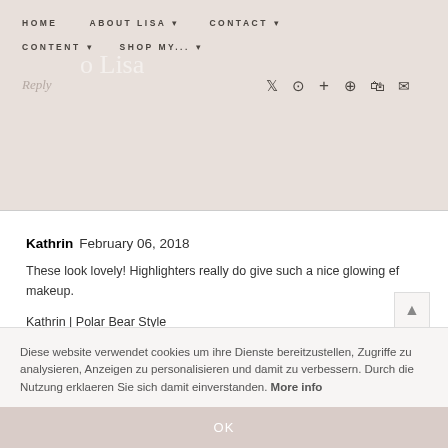HOME  ABOUT LISA  CONTACT  CONTENT  SHOP MY...
Reply
Kathrin  February 06, 2018
These look lovely! Highlighters really do give such a nice glowing ef... makeup.
Kathrin | Polar Bear Style
REPLY
▾  Replies
Diese website verwendet cookies um ihre Dienste bereitzustellen, Zugriffe zu analysieren, Anzeigen zu personalisieren und damit zu verbessern. Durch die Nutzung erklaeren Sie sich damit einverstanden. More info
OK